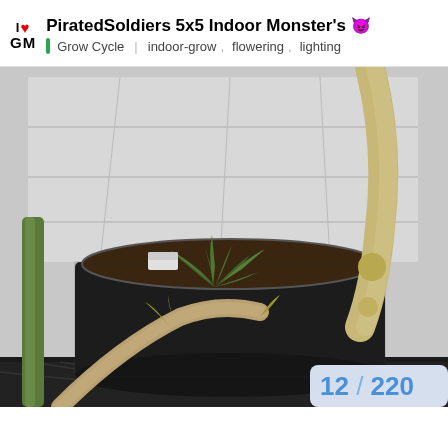PiratedSoldiers 5x5 Indoor Monster's 😈 | Grow Cycle  indoor-grow,  flowering,  lighting
[Figure (photo): Close-up indoor cannabis grow photo showing plants in a large black fabric pot with bent stems/branches trained outward (LST), small green shoots re-growing from the center, set against a reflective mylar grow tent background. Large trained/tied-down woody branches visible in foreground.]
12 / 220